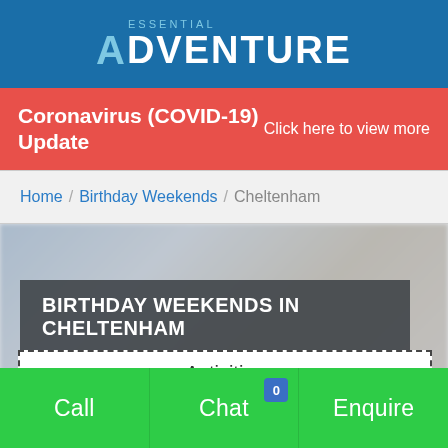[Figure (logo): Essential Adventure logo — word ESSENTIAL in small spaced letters above large ADVENTURE with stylized A, on blue background]
Coronavirus (COVID-19) Update    Click here to view more
Home / Birthday Weekends / Cheltenham
BIRTHDAY WEEKENDS IN CHELTENHAM
| Trending | Female | Male | Night | Sporty |
| --- | --- | --- | --- | --- |
Call   Chat   Enquire